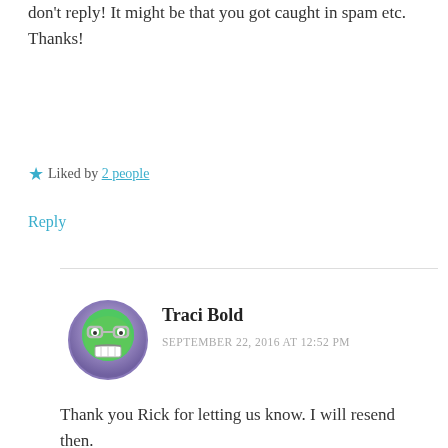don't reply! It might be that you got caught in spam etc. Thanks!
★ Liked by 2 people
Reply
Traci Bold
SEPTEMBER 22, 2016 AT 12:52 PM
Thank you Rick for letting us know. I will resend then.
★ Liked by 1 person
Reply